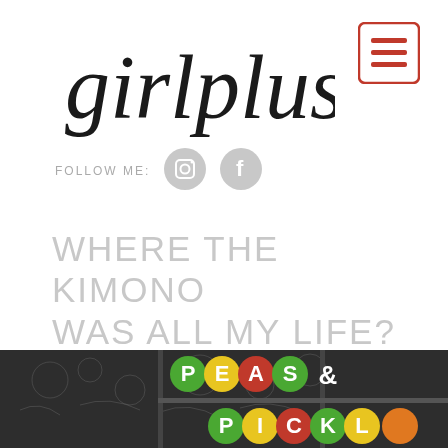girlplustwo
[Figure (logo): Hamburger menu button with three red horizontal bars inside a red-bordered rounded rectangle]
FOLLOW ME:
[Figure (illustration): Instagram icon - camera symbol on grey circle]
[Figure (illustration): Facebook icon - letter f on grey circle]
WHERE THE KIMONO WAS ALL MY LIFE?
[Figure (photo): Photo of a chalkboard storefront window with colorful circular letter signs spelling PEAS & PICKL (Peas & Pickles restaurant) with green, yellow, and red letter circles on a dark chalkboard background with chalk drawings]